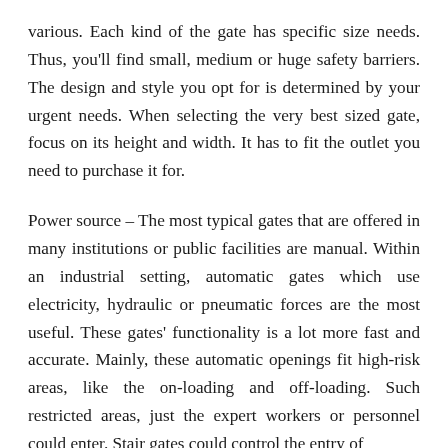various. Each kind of the gate has specific size needs. Thus, you'll find small, medium or huge safety barriers. The design and style you opt for is determined by your urgent needs. When selecting the very best sized gate, focus on its height and width. It has to fit the outlet you need to purchase it for.
Power source – The most typical gates that are offered in many institutions or public facilities are manual. Within an industrial setting, automatic gates which use electricity, hydraulic or pneumatic forces are the most useful. These gates' functionality is a lot more fast and accurate. Mainly, these automatic openings fit high-risk areas, like the on-loading and off-loading. Such restricted areas, just the expert workers or personnel could enter. Stair gates could control the entry of